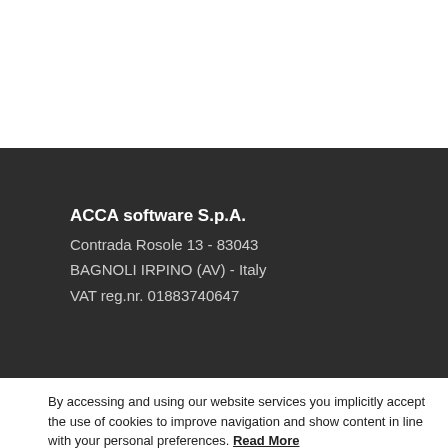ACCA software S.p.A.
Contrada Rosole 13 - 83043
BAGNOLI IRPINO (AV) - Italy
VAT reg.nr. 01883740647
By accessing and using our website services you implicitly accept the use of cookies to improve navigation and show content in line with your personal preferences. Read More
OK